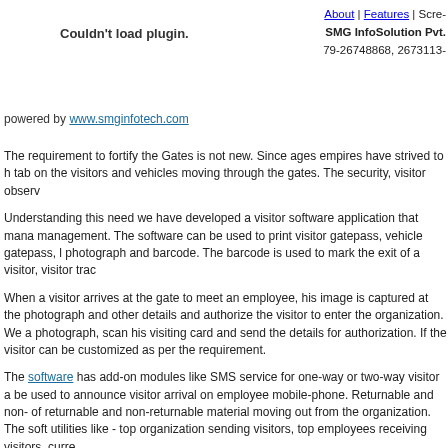About | Features | Scre-
SMG InfoSolution Pvt.
79-26748868, 2673113
Couldn't load plugin.
powered by www.smginfotech.com
The requirement to fortify the Gates is not new. Since ages empires have strived to h tab on the visitors and vehicles moving through the gates. The security, visitor observ
Understanding this need we have developed a visitor software application that mana management. The software can be used to print visitor gatepass, vehicle gatepass, l photograph and barcode. The barcode is used to mark the exit of a visitor, visitor trac
When a visitor arrives at the gate to meet an employee, his image is captured at the photograph and other details and authorize the visitor to enter the organization. We a photograph, scan his visiting card and send the details for authorization. If the visitor can be customized as per the requirement.
The software has add-on modules like SMS service for one-way or two-way visitor a be used to announce visitor arrival on employee mobile-phone. Returnable and non- of returnable and non-returnable material moving out from the organization. The soft utilities like - top organization sending visitors, top employees receiving visitors, curre
The visitor management software can simply a lot of issues face by the security sta Protect your organization with Visitor pass system, Visitor monitoring system, Visito Visitor monitoring system, Visitor tracking system, visitor tracking software, visitor ma where Axis gatepass visitor management software has helped organizations to impro management, vehicle tracking and contract worker database application. Buy visitor visitor appointment, visitor kiosk, self-registration kiosk, ldap , visitor tracking, visito